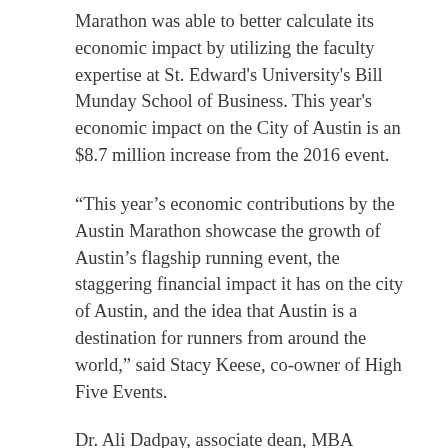Marathon was able to better calculate its economic impact by utilizing the faculty expertise at St. Edward's University's Bill Munday School of Business. This year's economic impact on the City of Austin is an $8.7 million increase from the 2016 event.
“This year’s economic contributions by the Austin Marathon showcase the growth of Austin’s flagship running event, the staggering financial impact it has on the city of Austin, and the idea that Austin is a destination for runners from around the world,” said Stacy Keese, co-owner of High Five Events.
Dr. Ali Dadpay, associate dean, MBA director, and professor of Economics for The Bill Munday School of Business, conducted the research for the 2017 Austin Marathon economic impact report. Dr. Dadpay achieved the report’s primary goal of incorporating more data, including High Five Events’ localized spending, volunteer contributions and jobs created, to measure the direct, indirect and induced economic impact.